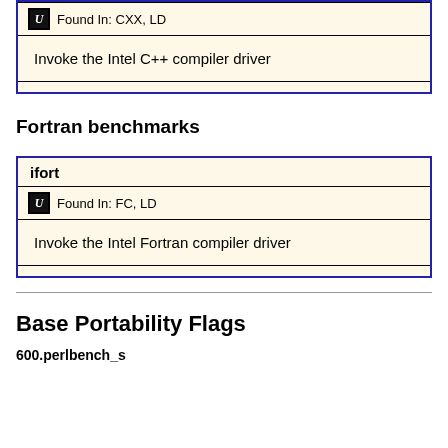| Found In: CXX, LD |
| Invoke the Intel C++ compiler driver |
Fortran benchmarks
| ifort |
| --- |
| Found In: FC, LD |
| Invoke the Intel Fortran compiler driver |
Base Portability Flags
600.perlbench_s